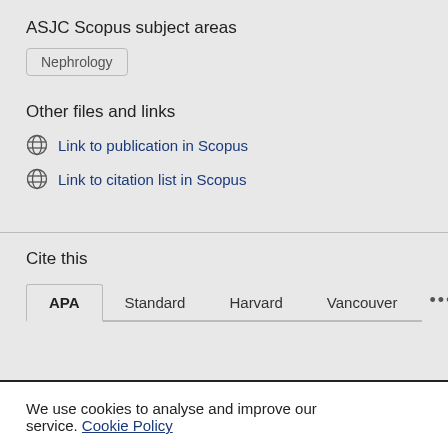ASJC Scopus subject areas
Nephrology
Other files and links
Link to publication in Scopus
Link to citation list in Scopus
Cite this
APA  Standard  Harvard  Vancouver  ...
We use cookies to analyse and improve our service. Cookie Policy